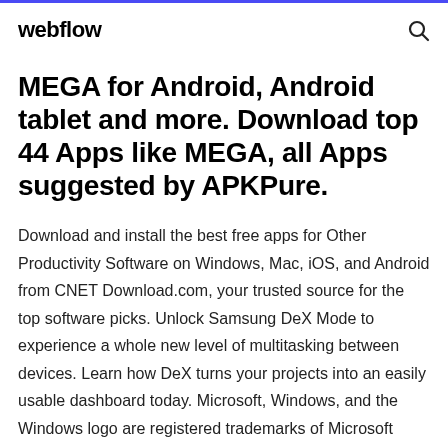webflow
MEGA for Android, Android tablet and more. Download top 44 Apps like MEGA, all Apps suggested by APKPure.
Download and install the best free apps for Other Productivity Software on Windows, Mac, iOS, and Android from CNET Download.com, your trusted source for the top software picks. Unlock Samsung DeX Mode to experience a whole new level of multitasking between devices. Learn how DeX turns your projects into an easily usable dashboard today. Microsoft, Windows, and the Windows logo are registered trademarks of Microsoft Corporation